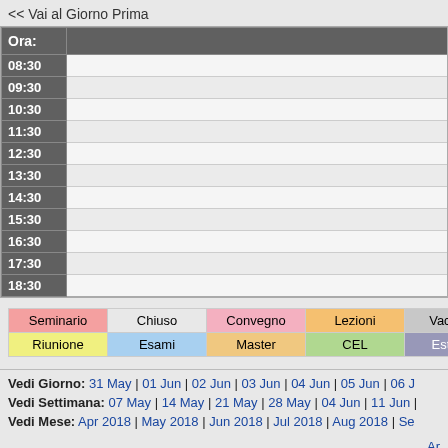<< Vai al Giorno Prima
| Ora: |  |
| --- | --- |
| 08:30 |  |
| 09:30 |  |
| 10:30 |  |
| 11:30 |  |
| 12:30 |  |
| 13:30 |  |
| 14:30 |  |
| 15:30 |  |
| 16:30 |  |
| 17:30 |  |
| 18:30 |  |
| Seminario | Chiuso | Convegno | Lezioni | Vacanza |
| --- | --- | --- | --- | --- |
| Riunione | Esami | Master | CEL | Esterno |
Vedi Giorno: 31 May | 01 Jun | 02 Jun | 03 Jun | 04 Jun | 05 Jun | 06 J
Vedi Settimana: 07 May | 14 May | 21 May | 28 May | 04 Jun | 11 Jun |
Vedi Mese: Apr 2018 | May 2018 | Jun 2018 | Jul 2018 | Aug 2018 | Se